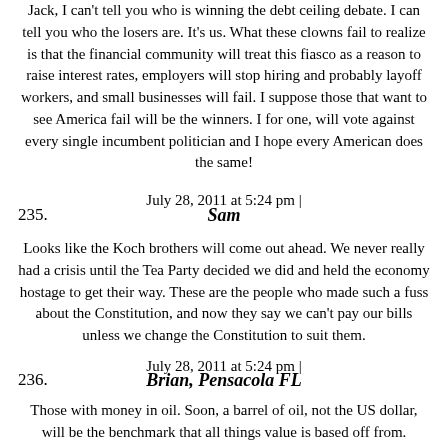Jack, I can't tell you who is winning the debt ceiling debate. I can tell you who the losers are. It's us. What these clowns fail to realize is that the financial community will treat this fiasco as a reason to raise interest rates, employers will stop hiring and probably layoff workers, and small businesses will fail. I suppose those that want to see America fail will be the winners. I for one, will vote against every single incumbent politician and I hope every American does the same!
July 28, 2011 at 5:24 pm |
235. Sam
Looks like the Koch brothers will come out ahead. We never really had a crisis until the Tea Party decided we did and held the economy hostage to get their way. These are the people who made such a fuss about the Constitution, and now they say we can't pay our bills unless we change the Constitution to suit them.
July 28, 2011 at 5:24 pm |
236. Brian, Pensacola FL
Those with money in oil. Soon, a barrel of oil, not the US dollar, will be the benchmark that all things value is based off from.